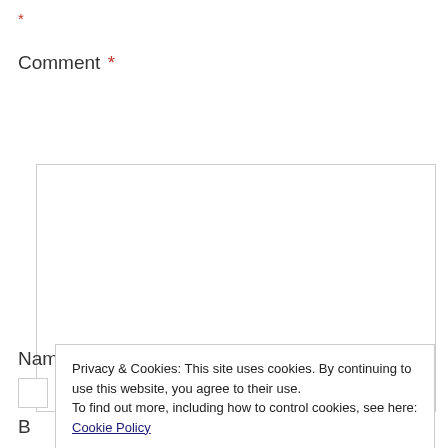*
Comment *
[Figure (screenshot): Empty comment textarea input field with resize handle]
Name *
Privacy & Cookies: This site uses cookies. By continuing to use this website, you agree to their use.
To find out more, including how to control cookies, see here: Cookie Policy
Close and accept
B